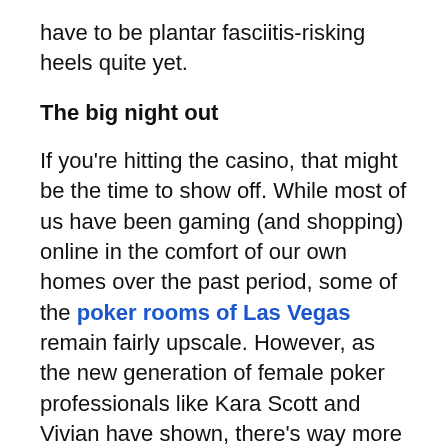have to be plantar fasciitis-risking heels quite yet.
The big night out
If you're hitting the casino, that might be the time to show off. While most of us have been gaming (and shopping) online in the comfort of our own homes over the past period, some of the poker rooms of Las Vegas remain fairly upscale. However, as the new generation of female poker professionals like Kara Scott and Vivian have shown, there's way more to the card table than cocktail dresses and LBDs. New York showed us that the long